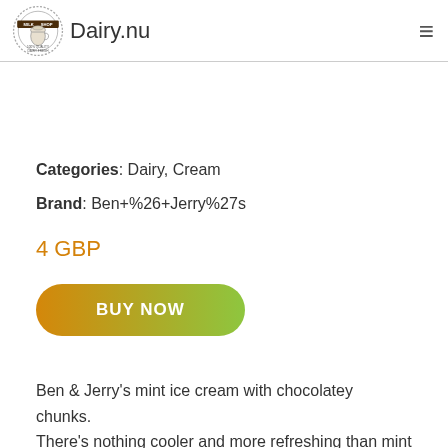Dairy.nu
Categories: Dairy, Cream
Brand: Ben+%26+Jerry%27s
4 GBP
BUY NOW
Ben & Jerry's mint ice cream with chocolatey chunks. There's nothing cooler and more refreshing than mint and